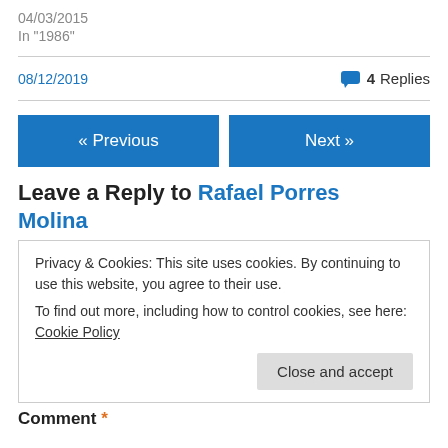04/03/2015
In "1986"
08/12/2019
4 Replies
« Previous
Next »
Leave a Reply to Rafael Porres Molina
Privacy & Cookies: This site uses cookies. By continuing to use this website, you agree to their use.
To find out more, including how to control cookies, see here: Cookie Policy
Close and accept
Comment *